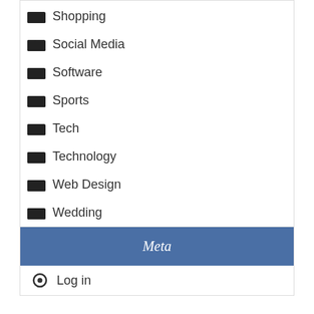Shopping
Social Media
Software
Sports
Tech
Technology
Web Design
Wedding
Meta
Log in